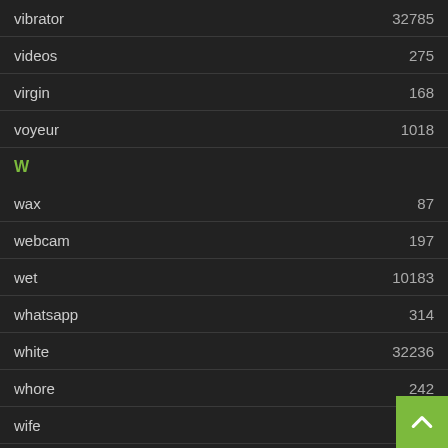| term | count |
| --- | --- |
| vibrator | 32785 |
| videos | 275 |
| virgin | 168 |
| voyeur | 1018 |
| W |  |
| wax | 87 |
| webcam | 197 |
| wet | 10183 |
| whatsapp | 314 |
| white | 32236 |
| whore | 242 |
| wife | 97 |
| Y |  |
| yoga | 1047 |
| young | 75994 |
| Z |  |